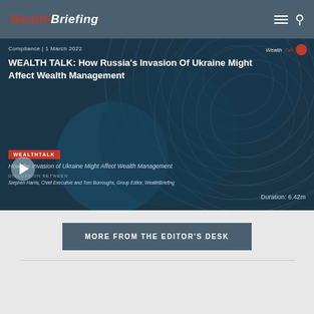WealthBriefing
[Figure (screenshot): Video thumbnail for WealthTalk episode: 'How Russia's Invasion Of Ukraine Might Affect Wealth Management'. Shows dark blue background with circular graphic lines. Badge reads WEALTHTALK, subtitle: 'How the Invasion of Ukraine Might Affect Wealth Management', Discussion between Stephen Harris, Chief Executive and Tom Burroughs, Group Editor, WealthBriefing. Play button visible. Duration: 6.42m. WealthTalk logo top right. Category: Compliance | 1 March 2022.]
MORE FROM THE EDITOR'S DESK